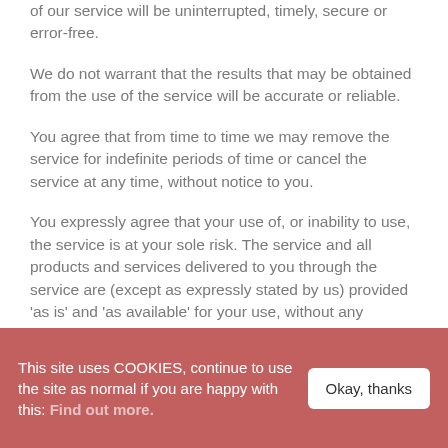of our service will be uninterrupted, timely, secure or error-free.
We do not warrant that the results that may be obtained from the use of the service will be accurate or reliable.
You agree that from time to time we may remove the service for indefinite periods of time or cancel the service at any time, without notice to you.
You expressly agree that your use of, or inability to use, the service is at your sole risk. The service and all products and services delivered to you through the service are (except as expressly stated by us) provided 'as is' and 'as available' for your use, without any representation, warranties or conditions of any kind, either express or implied, including all implied warranties or conditions of merchantability,
This site uses COOKIES, continue to use the site as normal if you are happy with this: Find out more.